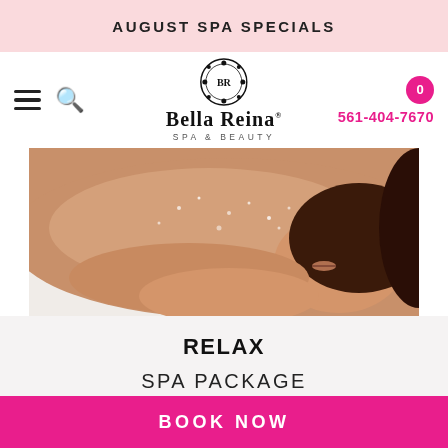AUGUST SPA SPECIALS
[Figure (logo): Bella Reina Spa & Beauty logo with ornate emblem]
561-404-7670
[Figure (photo): Woman lying on spa table receiving back treatment with exfoliating scrub, eyes closed, relaxed]
RELAX
SPA PACKAGE
BOOK NOW